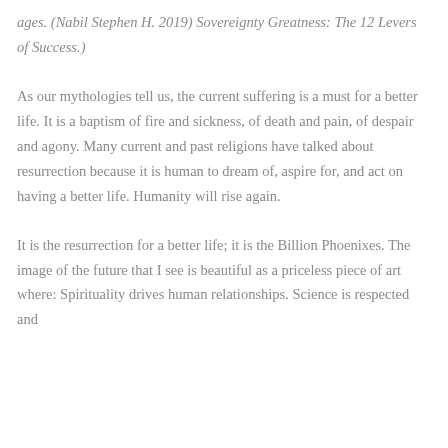ages. (Nabil Stephen H. 2019) Sovereignty Greatness: The 12 Levers of Success.)
As our mythologies tell us, the current suffering is a must for a better life. It is a baptism of fire and sickness, of death and pain, of despair and agony. Many current and past religions have talked about resurrection because it is human to dream of, aspire for, and act on having a better life. Humanity will rise again.
It is the resurrection for a better life; it is the Billion Phoenixes. The image of the future that I see is beautiful as a priceless piece of art where: Spirituality drives human relationships. Science is respected and